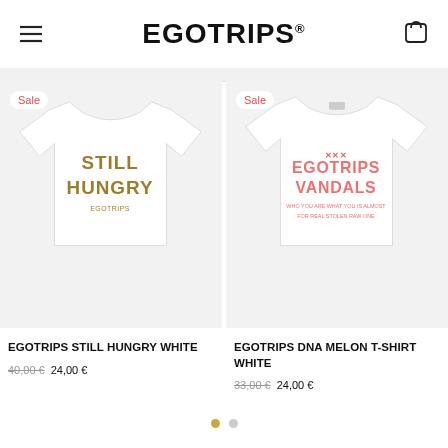EGOTRIPS®
[Figure (photo): White t-shirt with 'STILL HUNGRY' text in gold/olive collegiate lettering, with 'EGOTRIPS' small text below. Light grey background. Sale badge in top-left corner.]
[Figure (photo): White t-shirt with 'EGOTRIPS VANDALS' text in pink/salmon lettering with additional small text lines below. Light grey background. Sale badge in top-left corner.]
EGOTRIPS STILL HUNGRY WHITE
40,00 €  24,00 €
EGOTRIPS DNA MELON T-SHIRT WHITE
33,00 €  24,00 €